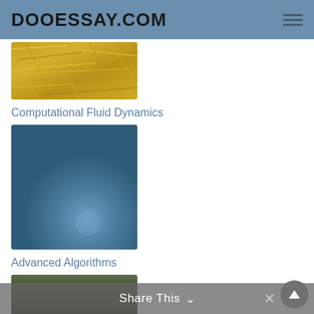DOOESSAY.COM
[Figure (photo): Close-up photo of straw or dried grass]
Computational Fluid Dynamics
[Figure (photo): Dark blue abstract background image]
Advanced Algorithms
[Figure (photo): Dark green/nature photo partially visible at bottom]
Share This